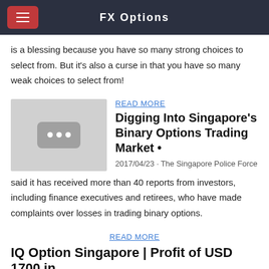FX Options
is a blessing because you have so many strong choices to select from. But it’s also a curse in that you have so many weak choices to select from!
[Figure (photo): Thumbnail placeholder image with three dots icon]
READ MORE
Digging Into Singapore's Binary Options Trading Market •
2017/04/23 · The Singapore Police Force said it has received more than 40 reports from investors, including finance executives and retirees, who have made complaints over losses in trading binary options.
READ MORE
IQ Option Singapore | Profit of USD 1700 in